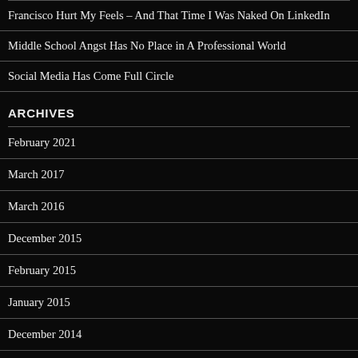Francisco Hurt My Feels – And That Time I Was Naked On LinkedIn
Middle School Angst Has No Place in A Professional World
Social Media Has Come Full Circle
ARCHIVES
February 2021
March 2017
March 2016
December 2015
February 2015
January 2015
December 2014